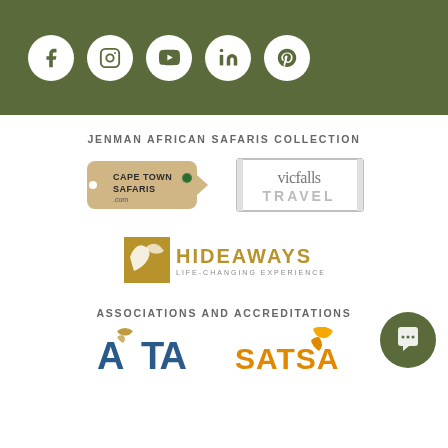[Figure (infographic): Dark olive green header bar with five social media icons in white circles: Facebook, Instagram, YouTube, LinkedIn, Pinterest]
JENMAN AFRICAN SAFARIS COLLECTION
[Figure (logo): Cape Town Safaris .com logo - luggage tag shape in tan/kraft color with green dot]
[Figure (logo): vicfalls TRAVEL logo - text in grey box with border]
[Figure (logo): HIDEAWAYS LIFE-CHANGING EXPERIENCES logo - gold square with bird silhouette and text]
ASSOCIATIONS AND ACCREDITATIONS
[Figure (logo): ARTA logo - large letters with bird/animal illustration]
[Figure (logo): SATSA logo partial - orange/yellow bird illustration]